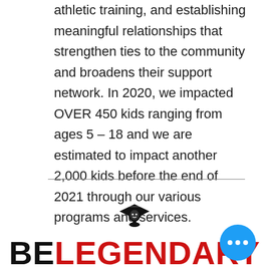athletic training, and establishing meaningful relationships that strengthen ties to the community and broadens their support network. In 2020, we impacted OVER 450 kids ranging from ages 5 – 18 and we are estimated to impact another 2,000 kids before the end of 2021 through our various programs and services.
[Figure (logo): BE LEGENDARY logo with graduation cap icon above text. 'BE' in black bold letters, 'LEGENDARY' in red bold letters.]